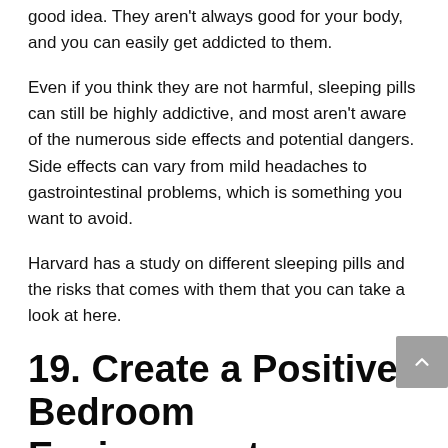good idea. They aren't always good for your body, and you can easily get addicted to them.
Even if you think they are not harmful, sleeping pills can still be highly addictive, and most aren't aware of the numerous side effects and potential dangers. Side effects can vary from mild headaches to gastrointestinal problems, which is something you want to avoid.
Harvard has a study on different sleeping pills and the risks that comes with them that you can take a look at here.
19. Create a Positive Bedroom Environment